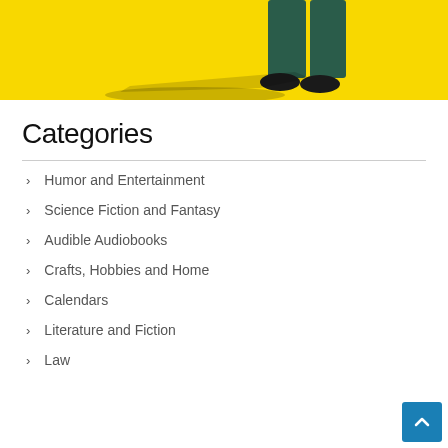[Figure (illustration): Yellow background illustration showing the lower body of a person wearing dark green/teal pants and black shoes, casting a shadow to the left.]
Categories
Humor and Entertainment
Science Fiction and Fantasy
Audible Audiobooks
Crafts, Hobbies and Home
Calendars
Literature and Fiction
Law